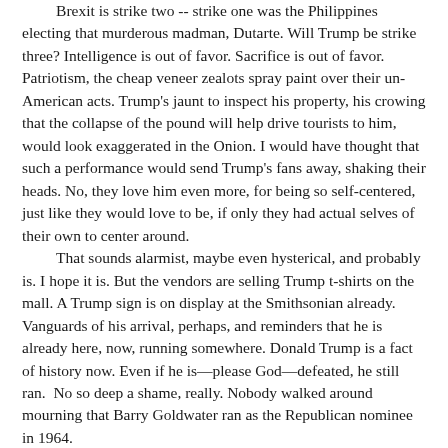Brexit is strike two -- strike one was the Philippines electing that murderous madman, Dutarte. Will Trump be strike three? Intelligence is out of favor. Sacrifice is out of favor. Patriotism, the cheap veneer zealots spray paint over their un-American acts. Trump's jaunt to inspect his property, his crowing that the collapse of the pound will help drive tourists to him, would look exaggerated in the Onion. I would have thought that such a performance would send Trump's fans away, shaking their heads. No, they love him even more, for being so self-centered, just like they would love to be, if only they had actual selves of their own to center around.

That sounds alarmist, maybe even hysterical, and probably is. I hope it is. But the vendors are selling Trump t-shirts on the mall. A Trump sign is on display at the Smithsonian already. Vanguards of his arrival, perhaps, and reminders that he is already here, now, running somewhere. Donald Trump is a fact of history now. Even if he is—please God—defeated, he still ran.  No so deep a shame, really. Nobody walked around mourning that Barry Goldwater ran as the Republican nominee in 1964.

But it could be worse. Maybe will be worse. Definitely could be.

The British leaving the European Union shows that people will